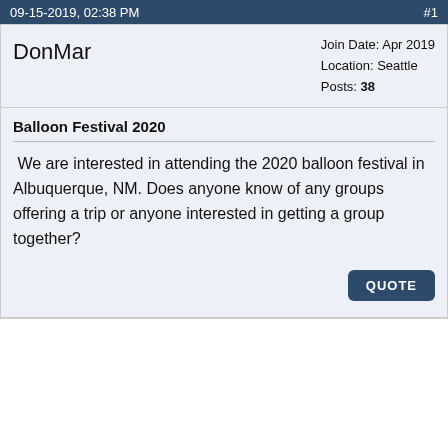09-15-2019, 02:38 PM  #1
DonMar
Join Date: Apr 2019
Location: Seattle
Posts: 38
Balloon Festival 2020
We are interested in attending the 2020 balloon festival in Albuquerque, NM. Does anyone know of any groups offering a trip or anyone interested in getting a group together?